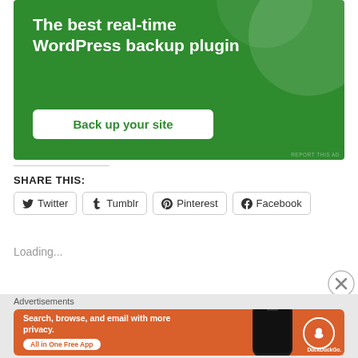[Figure (screenshot): Green advertisement banner for WordPress backup plugin. White bold text reads 'The best real-time WordPress backup plugin' with a white button 'Back up your site' in green text.]
SHARE THIS:
[Figure (screenshot): Social sharing buttons for Twitter, Tumblr, Pinterest, and Facebook with icons and rounded rectangle borders.]
Loading...
Advertisements
[Figure (screenshot): DuckDuckGo advertisement on orange background. Text: 'Search, browse, and email with more privacy. All in One Free App' with phone image and DuckDuckGo logo.]